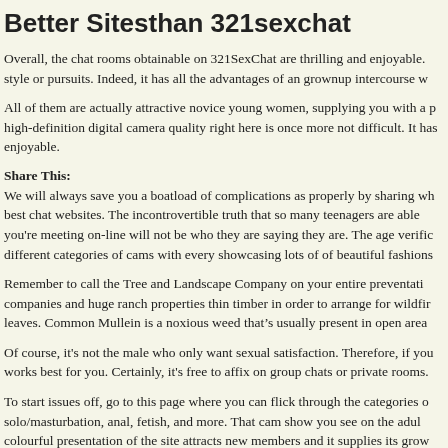Better Sitesthan 321sexchat
Overall, the chat rooms obtainable on 321SexChat are thrilling and enjoyable. style or pursuits. Indeed, it has all the advantages of an grownup intercourse w
All of them are actually attractive novice young women, supplying you with a p high-definition digital camera quality right here is once more not difficult. It has enjoyable.
Share This:
We will always save you a boatload of complications as properly by sharing wh best chat websites. The incontrovertible truth that so many teenagers are able you're meeting on-line will not be who they are saying they are. The age verific different categories of cams with every showcasing lots of of beautiful fashions
Remember to call the Tree and Landscape Company on your entire preventati companies and huge ranch properties thin timber in order to arrange for wildfir leaves. Common Mullein is a noxious weed that's usually present in open area
Of course, it's not the male who only want sexual satisfaction. Therefore, if you works best for you. Certainly, it's free to affix on group chats or private rooms.
To start issues off, go to this page where you can flick through the categories o solo/masturbation, anal, fetish, and more. That cam show you see on the adul colourful presentation of the site attracts new members and it supplies its grow males at the second are using 321chat to talk with straight guys while they pos places users at risk at 321sexchat.